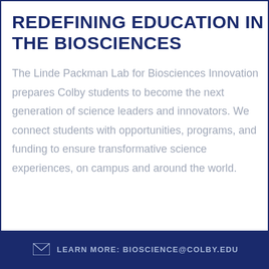REDEFINING EDUCATION IN THE BIOSCIENCES
The Linde Packman Lab for Biosciences Innovation prepares Colby students to become the next generation of science leaders and innovators. We connect students with opportunities, programs, and funding to ensure transformative science experiences, on campus and around the world.
LEARN MORE: BIOSCIENCE@COLBY.EDU